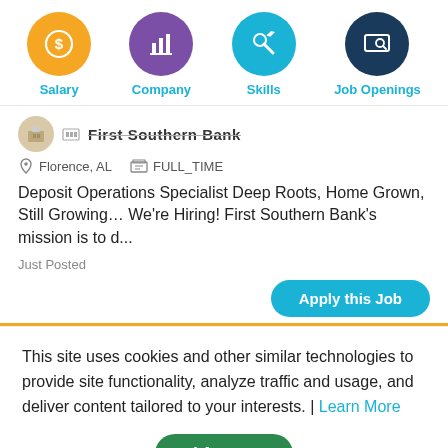[Figure (screenshot): Four navigation icon circles: yellow circle with dollar sign (Salary), purple circle with bar chart (Company), teal circle with wrench/tools (Skills), dark navy circle with monitor/search (Job Openings). Labels in teal below each icon.]
First Southern Bank
Florence, AL   FULL_TIME
Deposit Operations Specialist Deep Roots, Home Grown, Still Growing… We're Hiring! First Southern Bank's mission is to d...
Just Posted
Apply this Job
This site uses cookies and other similar technologies to provide site functionality, analyze traffic and usage, and deliver content tailored to your interests. | Learn More
I Accept
ons